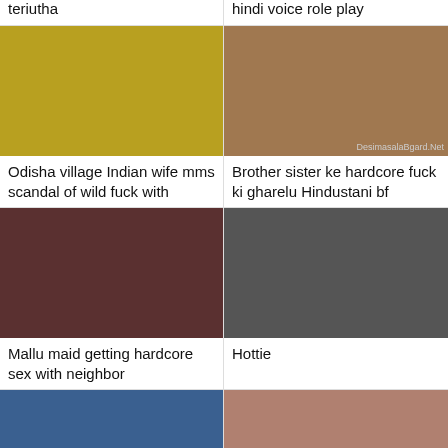teriutha
hindi voice role play
[Figure (photo): Yellow-toned video thumbnail]
Odisha village Indian wife mms scandal of wild fuck with
[Figure (photo): Room scene video thumbnail with watermark DesimasalaBgard.Net]
Brother sister ke hardcore fuck ki gharelu Hindustani bf
[Figure (photo): Couple kissing video thumbnail]
Mallu maid getting hardcore sex with neighbor
[Figure (photo): Girl in black shirt video thumbnail]
Hottie
[Figure (photo): Blue-toned close-up video thumbnail]
[Figure (photo): Pink-toned close-up video thumbnail]